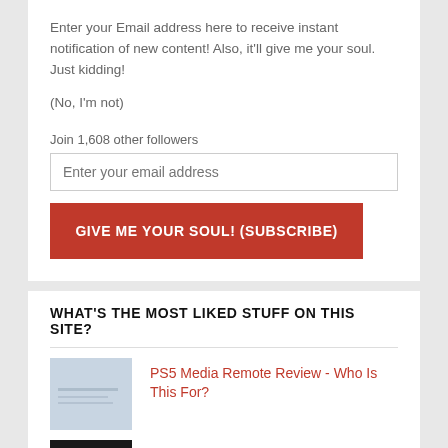Enter your Email address here to receive instant notification of new content! Also, it'll give me your soul. Just kidding!
(No, I'm not)
Join 1,608 other followers
WHAT'S THE MOST LIKED STUFF ON THIS SITE?
PS5 Media Remote Review - Who Is This For?
Majority D40 Bookshelf Speakers Review - Quality Sound On A Budget?
About